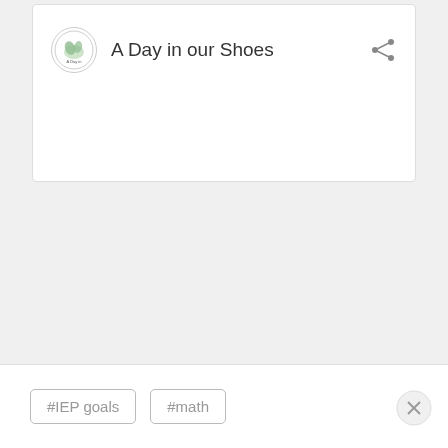[Figure (logo): A Day in our Shoes blog card with circular logo and share icon]
#IEP goals
#math